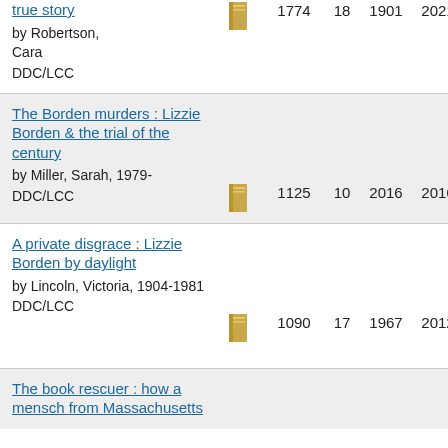true story by Robertson, Cara DDC/LCC | 1774 | 18 | 1901 | 2021
The Borden murders : Lizzie Borden & the trial of the century by Miller, Sarah, 1979- DDC/LCC | 1125 | 10 | 2016 | 2016
A private disgrace : Lizzie Borden by daylight by Lincoln, Victoria, 1904-1981 DDC/LCC | 1090 | 17 | 1967 | 2012
The book rescuer : how a mensch from Massachusetts